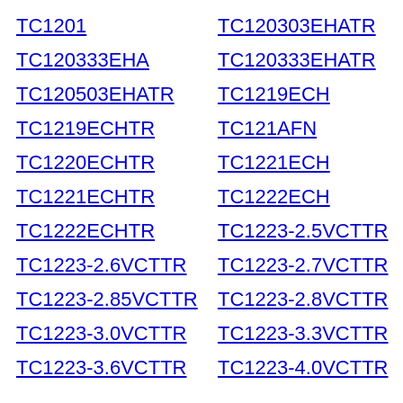TC1201
TC120303EHATR
TC120333EHA
TC120333EHATR
TC120503EHATR
TC1219ECH
TC1219ECHTR
TC121AFN
TC1220ECHTR
TC1221ECH
TC1221ECHTR
TC1222ECH
TC1222ECHTR
TC1223-2.5VCTTR
TC1223-2.6VCTTR
TC1223-2.7VCTTR
TC1223-2.85VCTTR
TC1223-2.8VCTTR
TC1223-3.0VCTTR
TC1223-3.3VCTTR
TC1223-3.6VCTTR
TC1223-4.0VCTTR